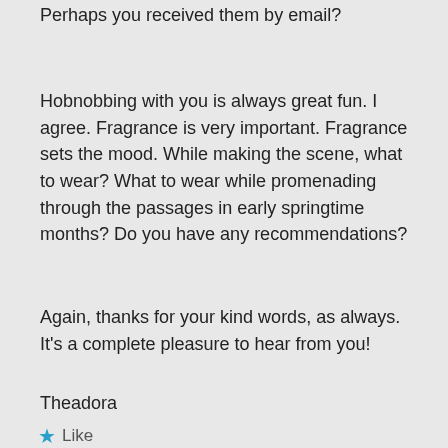Perhaps you received them by email?
Hobnobbing with you is always great fun. I agree. Fragrance is very important. Fragrance sets the mood. While making the scene, what to wear? What to wear while promenading through the passages in early springtime months? Do you have any recommendations?
Again, thanks for your kind words, as always. It's a complete pleasure to hear from you!
Theadora
Like